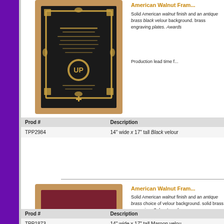[Figure (photo): Walnut plaque with black velour background and antique brass frame engraving, 14" wide x 17" tall]
American Walnut Fram...
Solid American walnut finish and an antique brass black velour background. brass engraving plates. Awards
Production lead time f...
| Prod # | Description |
| --- | --- |
| TPP2984 | 14" wide x 17" tall Black velour |
[Figure (photo): Walnut plaque with maroon velour background and antique brass eagle casting, 14" wide x 17" tall]
American Walnut Fram...
Solid American walnut finish and an antique brass choice of velour background. solid brass engraving. Sales Awards
Production lead time f...
| Prod # | Description |
| --- | --- |
| TPP1873 | 14" wide x 17" tall Maroon velou... |